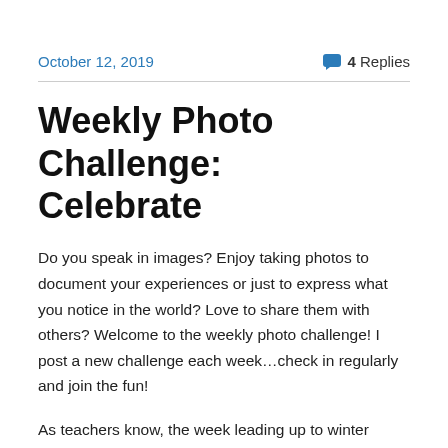October 12, 2019    4 Replies
Weekly Photo Challenge: Celebrate
Do you speak in images? Enjoy taking photos to document your experiences or just to express what you notice in the world? Love to share them with others? Welcome to the weekly photo challenge! I post a new challenge each week…check in regularly and join the fun!
As teachers know, the week leading up to winter break is a busy one.  There's so much more to teaching than reading and writing and math!  Kids heads are filled with the